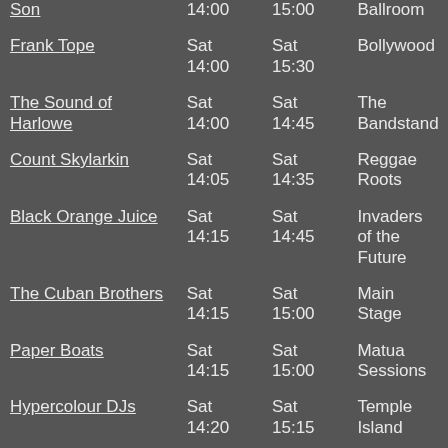| Artist | Start | End | Venue |
| --- | --- | --- | --- |
| Son | 14:00 | 15:00 | Ballroom |
| Frank Tope | Sat 14:00 | Sat 15:30 | Bollywood |
| The Sound of Harlowe | Sat 14:00 | Sat 14:45 | The Bandstand |
| Count Skylarkin | Sat 14:05 | Sat 14:35 | Reggae Roots |
| Black Orange Juice | Sat 14:15 | Sat 14:45 | Invaders of the Future |
| The Cuban Brothers | Sat 14:15 | Sat 15:00 | Main Stage |
| Paper Boats | Sat 14:15 | Sat 15:00 | Matua Sessions |
| Hypercolour DJs | Sat 14:20 | Sat 15:15 | Temple Island |
| Phildel | Sat 14:30 | Sat 14:45 | BBC ... |